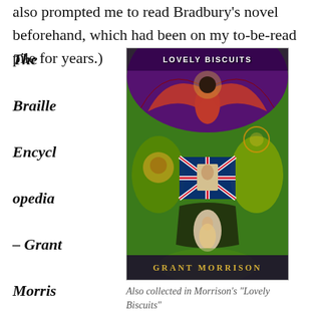also prompted me to read Bradbury's novel beforehand, which had been on my to-be-read pile for years.)
The Braille Encyclopedia – Grant Morrison (4/5 – Morrison goes all Clive Barker
[Figure (illustration): Book cover of 'Lovely Biscuits' by Grant Morrison, featuring psychedelic artwork with a winged demon figure, faces, Union Jack imagery, and a woman, in vivid purple, red, green, and yellow tones.]
Also collected in Morrison's "Lovely Biscuits"